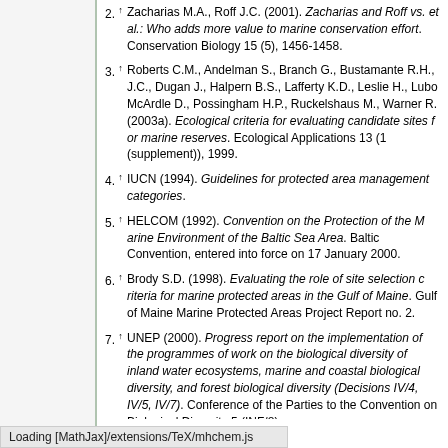2. ↑ Zacharias M.A., Roff J.C. (2001). Zacharias and Roff vs. et al.: Who adds more value to marine conservation efforts. Conservation Biology 15 (5), 1456-1458.
3. ↑ Roberts C.M., Andelman S., Branch G., Bustamante R.H., J.C., Dugan J., Halpern B.S., Lafferty K.D., Leslie H., Lubchenco J., McArdle D., Possingham H.P., Ruckelshaus M., Warner R. (2003a). Ecological criteria for evaluating candidate sites for marine reserves. Ecological Applications 13 (1 (supplement)), 1999.
4. ↑ IUCN (1994). Guidelines for protected area management categories.
5. ↑ HELCOM (1992). Convention on the Protection of the Marine Environment of the Baltic Sea Area. Baltic Convention, entered into force on 17 January 2000.
6. ↑ Brody S.D. (1998). Evaluating the role of site selection criteria for marine protected areas in the Gulf of Maine. Gulf of Maine Marine Protected Areas Project Report no. 2.
7. ↑ UNEP (2000). Progress report on the implementation of the programmes of work on the biological diversity of inland water ecosystems, marine and coastal biological diversity, and forest biological diversity (Decisions IV/4, IV/5, IV/7). Conference of the Parties to the Convention on Biological Diversity 5 (INF/8).
8. ↑ GTZ GmbH (2002). Marine protected areas: a compact introduction. Aquatic Resource Management, Eschborn, Germany.
9. ↑ Humphries C.J., Williams P.H., Vane-Wright R.I. (1995). Measuring biodiversity value for conservation. Annual Review of Ecology 26, 93-111.
Loading [MathJax]/extensions/TeX/mhchem.js